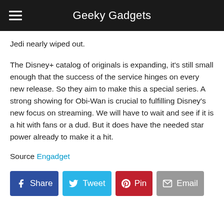Geeky Gadgets
Jedi nearly wiped out.
The Disney+ catalog of originals is expanding, it's still small enough that the success of the service hinges on every new release. So they aim to make this a special series. A strong showing for Obi-Wan is crucial to fulfilling Disney's new focus on streaming. We will have to wait and see if it is a hit with fans or a dud. But it does have the needed star power already to make it a hit.
Source Engadget
[Figure (other): Social share buttons: Share (Facebook), Tweet (Twitter), Pin (Pinterest), Email]